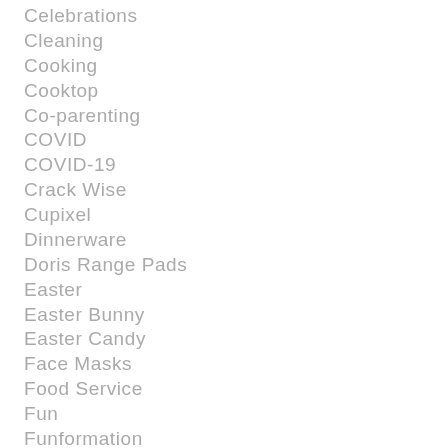Celebrations
Cleaning
Cooking
Cooktop
Co-parenting
COVID
COVID-19
Crack Wise
Cupixel
Dinnerware
Doris Range Pads
Easter
Easter Bunny
Easter Candy
Face Masks
Food Service
Fun
Funformation
Games